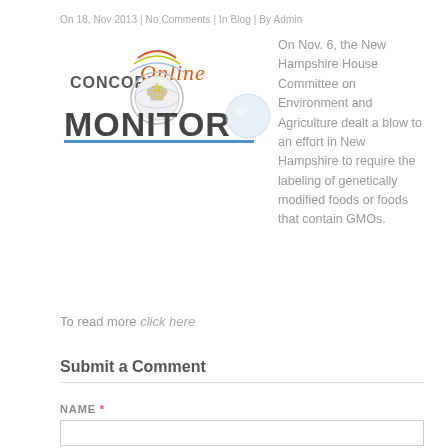On 18, Nov 2013 | No Comments | In Blog | By Admin
[Figure (logo): Concord Monitor Online logo — stylized text 'CONCORD Online MONITOR' with a globe/capitol dome icon and blue underline]
On Nov. 6, the New Hampshire House Committee on Environment and Agriculture dealt a blow to an effort in New Hampshire to require the labeling of genetically modified foods or foods that contain GMOs.
To read more click here
Submit a Comment
NAME *